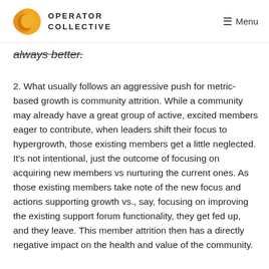OPERATOR COLLECTIVE  Menu
always better.
2. What usually follows an aggressive push for metric-based growth is community attrition. While a community may already have a great group of active, excited members eager to contribute, when leaders shift their focus to hypergrowth, those existing members get a little neglected. It's not intentional, just the outcome of focusing on acquiring new members vs nurturing the current ones. As those existing members take note of the new focus and actions supporting growth vs., say, focusing on improving the existing support forum functionality, they get fed up, and they leave. This member attrition then has a directly negative impact on the health and value of the community.